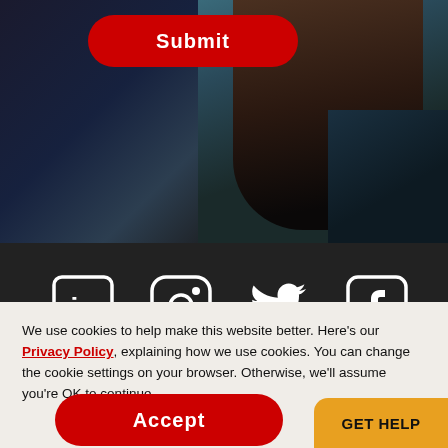[Figure (screenshot): Dark background photo of a person with long dark hair, partially visible, dark blue/teal clothing]
[Figure (other): Red rounded Submit button overlaid on top of dark photo]
[Figure (other): Dark section with LinkedIn, Instagram, Twitter, and Facebook social media icons in white/outline style]
Get our
We use cookies to help make this website better. Here’s our Privacy Policy, explaining how we use cookies. You can change the cookie settings on your browser. Otherwise, we’ll assume you’re OK to continue.
[Figure (other): Red rounded Accept button]
[Figure (other): Gold/yellow GET HELP button in bottom right corner]